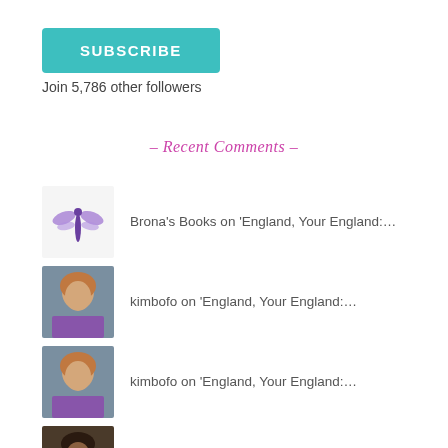[Figure (other): SUBSCRIBE button in teal/turquoise color]
Join 5,786 other followers
– Recent Comments –
Brona's Books on 'England, Your England:…
kimbofo on 'England, Your England:…
kimbofo on 'England, Your England:…
kaggsysbookishrambli… on 'England, Your England:…
Elle on 'England, Your England:…